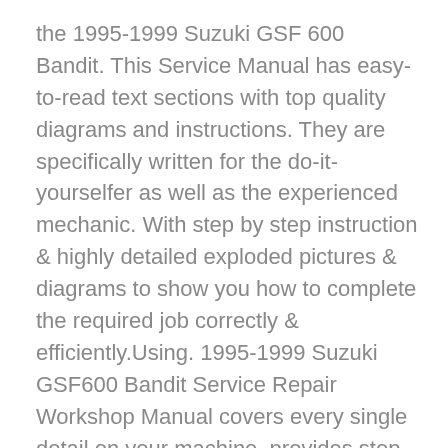the 1995-1999 Suzuki GSF 600 Bandit. This Service Manual has easy-to-read text sections with top quality diagrams and instructions. They are specifically written for the do-it-yourselfer as well as the experienced mechanic. With step by step instruction & highly detailed exploded pictures & diagrams to show you how to complete the required job correctly & efficiently.Using. 1995-1999 Suzuki GSF600 Bandit Service Repair Workshop Manual covers every single detail on your machine .provides step-by-step instructions based on the complete disassembly of the machine. this repair manual is an inexpensive way to keep you vehicle working properly.